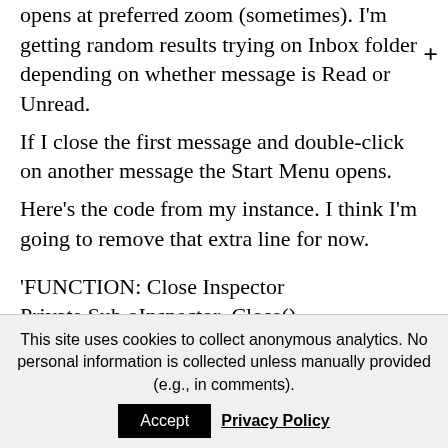opens at preferred zoom (sometimes). I'm getting random results trying on Inbox folder depending on whether message is Read or Unread. If I close the first message and double-click on another message the Start Menu opens. Here's the code from my instance. I think I'm going to remove that extra line for now.
'FUNCTION: Close Inspector
Private Sub oInspector_Close()
This site uses cookies to collect anonymous analytics. No personal information is collected unless manually provided (e.g., in comments).